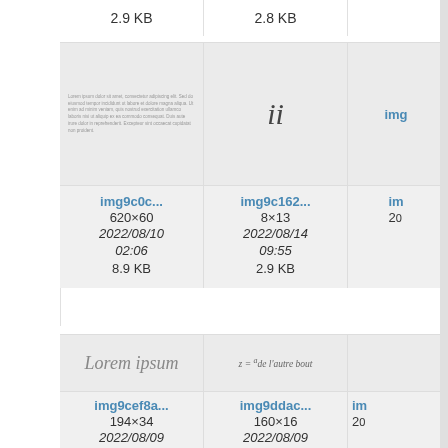2.9 KB
2.8 KB
[Figure (screenshot): Thumbnail preview of img9c0c showing small text document]
[Figure (screenshot): Thumbnail preview of img9c162 showing italic 'ii']
img9c0c...
620×60
2022/08/10
02:06
8.9 KB
img9c162...
8×13
2022/08/14
09:55
2.9 KB
[Figure (screenshot): Thumbnail preview of img9cef8a showing 'Lorem ipsum' text]
[Figure (screenshot): Thumbnail preview of img9ddac showing formula z = a_de l'autre bout]
img9cef8a...
194×34
2022/08/09
11:57
3.8 KB
img9ddac...
160×16
2022/08/09
16:32
3.3 KB